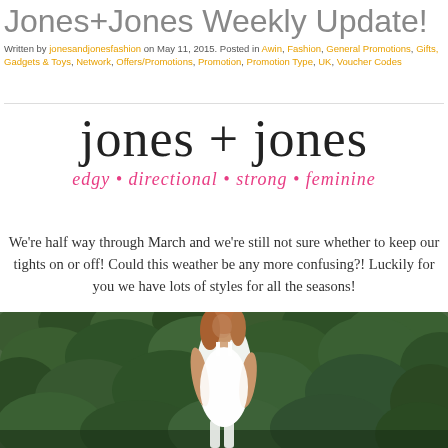Jones+Jones Weekly Update!
Written by jonesandjonesfashion on May 11, 2015. Posted in Awin, Fashion, General Promotions, Gifts, Gadgets & Toys, Network, Offers/Promotions, Promotion, Promotion Type, UK, Voucher Codes
[Figure (logo): jones + jones logo with tagline: edgy • directional • strong • feminine]
We're half way through March and we're still not sure whether to keep our tights on or off! Could this weather be any more confusing?! Luckily for you we have lots of styles for all the seasons!
[Figure (photo): Young woman in white dress standing in front of a green leafy hedge/bush background]